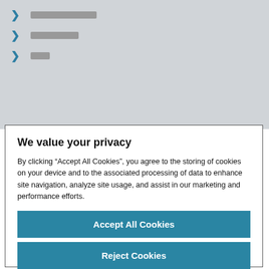▶ [redacted navigation item 1]
▶ [redacted navigation item 2]
▶ [redacted navigation item 3]
We value your privacy
By clicking “Accept All Cookies”, you agree to the storing of cookies on your device and to the associated processing of data to enhance site navigation, analyze site usage, and assist in our marketing and performance efforts.
Accept All Cookies
Reject Cookies
Manage Preferences